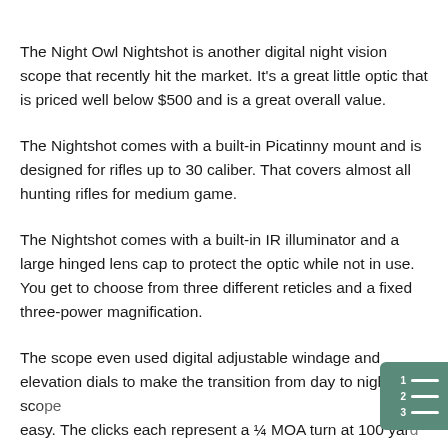The Night Owl Nightshot is another digital night vision scope that recently hit the market. It's a great little optic that is priced well below $500 and is a great overall value.
The Nightshot comes with a built-in Picatinny mount and is designed for rifles up to 30 caliber. That covers almost all hunting rifles for medium game.
The Nightshot comes with a built-in IR illuminator and a large hinged lens cap to protect the optic while not in use. You get to choose from three different reticles and a fixed three-power magnification.
The scope even used digital adjustable windage and elevation dials to make the transition from day to night scope easy. The clicks each represent a ¼ MOA turn at 100 yar…